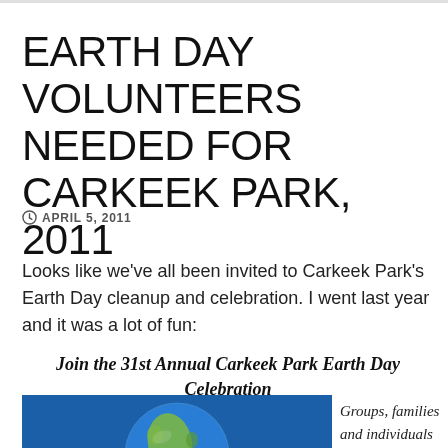EARTH DAY VOLUNTEERS NEEDED FOR CARKEEK PARK, 2011
APRIL 5, 2011
Looks like we've all been invited to Carkeek Park's Earth Day cleanup and celebration. I went last year and it was a lot of fun:
Join the 31st Annual Carkeek Park Earth Day Celebration
[Figure (photo): Globe showing Earth from space, blue background]
Groups, families and individuals